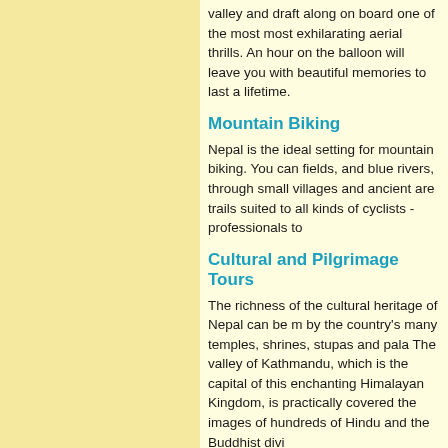valley and draft along on board one of the most most exhilarating aerial thrills. An hour on the balloon will leave you with beautiful memories to last a lifetime.
Mountain Biking
Nepal is the ideal setting for mountain biking. You can ride past rice fields, and blue rivers, through small villages and ancient temples. There are trails suited to all kinds of cyclists - professionals to beginners.
Cultural and Pilgrimage Tours
The richness of the cultural heritage of Nepal can be measured by the country's many temples, shrines, stupas and palaces. The valley of Kathmandu, which is the capital of this enchanting Himalayan Kingdom, is practically covered with the images of hundreds of Hindu and the Buddhist divinity.
Educational Trips
Nepal is unrivalled in its diversity of cultural, religious and historical identities. If offers immense scope for academic research for those seeking a more challenging pursuit.
Filming & Photography Tours
The most photographed and one of the most scenic villages in Nepal...